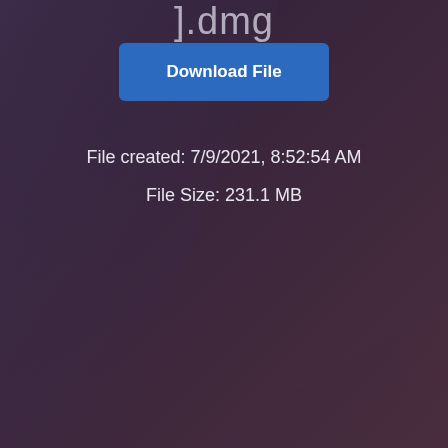].dmg
Download File
File created: 7/9/2021, 8:52:54 AM
File Size: 231.1 MB